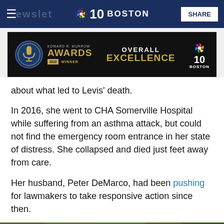NBC 10 Boston — SHARE
[Figure (illustration): Edward R. Murrow Awards 2022 Winner — Overall Excellence — NBC 10 Boston promotional banner advertisement]
about what led to Levis' death.
In 2016, she went to CHA Somerville Hospital while suffering from an asthma attack, but could not find the emergency room entrance in her state of distress. She collapsed and died just feet away from care.
Her husband, Peter DeMarco, had been pushing for lawmakers to take responsive action since then.
[Figure (photo): Partial photo of a woman with dark hair outdoors with greenery in the background]